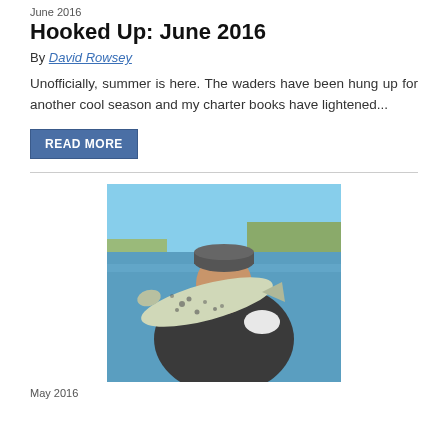June 2016
Hooked Up: June 2016
By David Rowsey
Unofficially, summer is here. The waders have been hung up for another cool season and my charter books have lightened...
READ MORE
[Figure (photo): Man holding a large speckled trout fish on a boat with water and shoreline in the background, wearing sunglasses and a cap]
May 2016